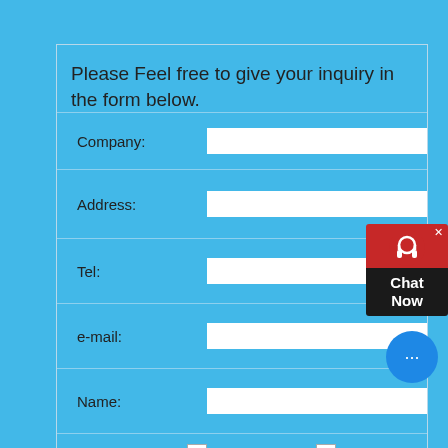Please Feel free to give your inquiry in the form below.
Company:
Address:
Tel:
e-mail:
Name:
mobile crusher
crusher machine
Product:
machine
Grinding mill *
[Figure (screenshot): Chat Now widget with red background, headset icon, and black Chat Now label, plus blue chat bubble with ellipsis]